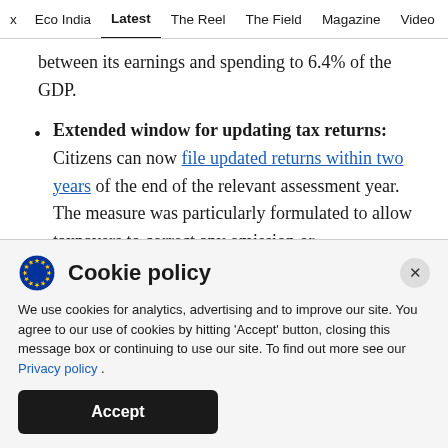x  Eco India  Latest  The Reel  The Field  Magazine  Video
between its earnings and spending to 6.4% of the GDP.
Extended window for updating tax returns: Citizens can now file updated returns within two years of the end of the relevant assessment year. The measure was particularly formulated to allow taxpayers to correct any omission or
Cookie policy
We use cookies for analytics, advertising and to improve our site. You agree to our use of cookies by hitting 'Accept' button, closing this message box or continuing to use our site. To find out more see our Privacy policy .
Accept